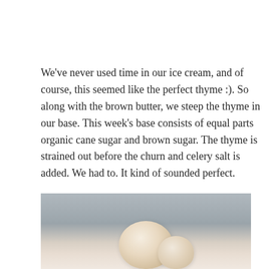We've never used time in our ice cream, and of course, this seemed like the perfect thyme :). So along with the brown butter, we steep the thyme in our base. This week's base consists of equal parts organic cane sugar and brown sugar. The thyme is strained out before the churn and celery salt is added. We had to. It kind of sounded perfect.
[Figure (photo): Close-up photo of ice cream scoops, light beige/tan colored, on a light gray background. The top portion of the scoops are visible.]